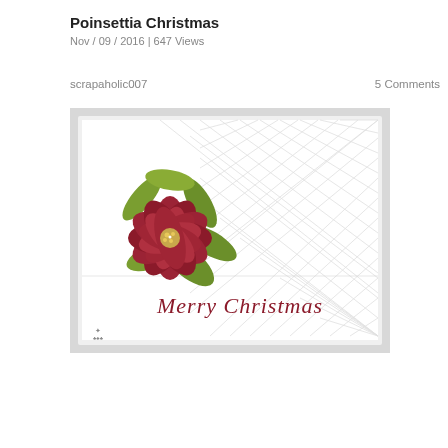Poinsettia Christmas
Nov / 09 / 2016 | 647 Views
scrapaholic007
5 Comments
[Figure (photo): A handmade Christmas card featuring a large red poinsettia flower with green leaves on the left side, placed on a white embossed card with a diamond/lattice pattern. The text 'Merry Christmas' is written in red cursive script on the lower right of the card. A small signature stamp appears in the lower left corner.]